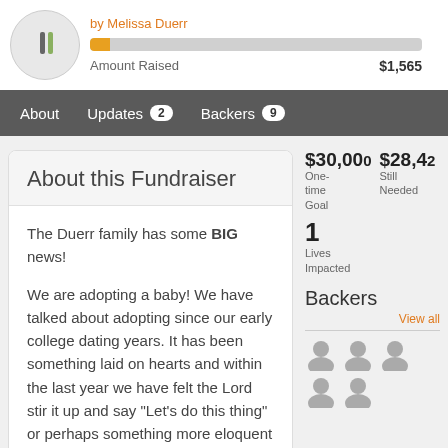by Melissa Duerr
Amount Raised   $1,565
About   Updates 2   Backers 9
About this Fundraiser
$30,00  $28,42
One-time Goal   Still Needed
1
Lives Impacted
Backers
View all
The Duerr family has some BIG news!

We are adopting a baby! We have talked about adopting since our early college dating years. It has been something laid on hearts and within the last year we have felt the Lord stir it up and say "Let's do this thing" or perhaps something more eloquent :) Either way we are so